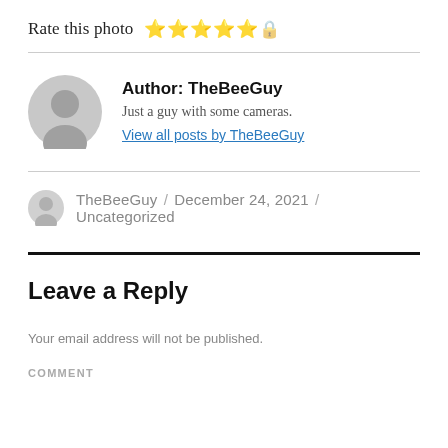Rate this photo ★★★★★
Author: TheBeeGuy
Just a guy with some cameras.
View all posts by TheBeeGuy
TheBeeGuy / December 24, 2021 / Uncategorized
Leave a Reply
Your email address will not be published.
COMMENT